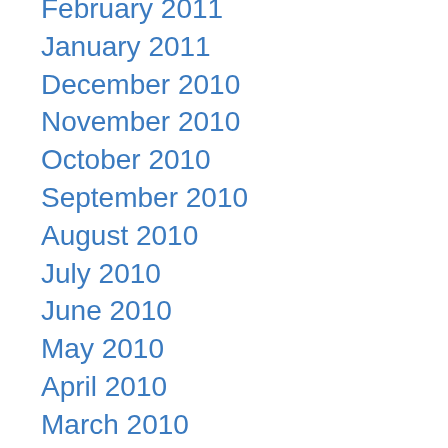February 2011
January 2011
December 2010
November 2010
October 2010
September 2010
August 2010
July 2010
June 2010
May 2010
April 2010
March 2010
February 2010
January 2010
December 2009